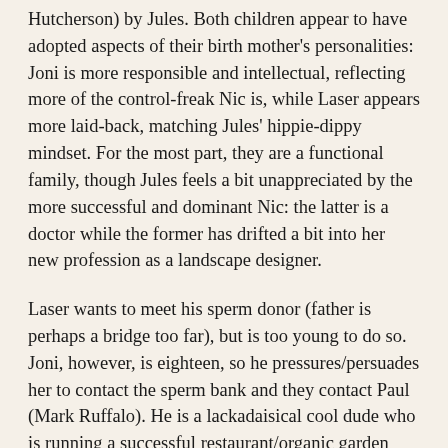Hutcherson) by Jules. Both children appear to have adopted aspects of their birth mother's personalities: Joni is more responsible and intellectual, reflecting more of the control-freak Nic is, while Laser appears more laid-back, matching Jules' hippie-dippy mindset. For the most part, they are a functional family, though Jules feels a bit unappreciated by the more successful and dominant Nic: the latter is a doctor while the former has drifted a bit into her new profession as a landscape designer.
Laser wants to meet his sperm donor (father is perhaps a bridge too far), but is too young to do so. Joni, however, is eighteen, so he pressures/persuades her to contact the sperm bank and they contact Paul (Mark Ruffalo). He is a lackadaisical cool dude who is running a successful restaurant/organic garden who has no interest in having anything more than good sex without commitment.
Paul's just going through life, feeling the good vibes, when he gets a call that the deposits he made in 1991 and 1993 want to see him. He agrees, and while the meeting is a bit uncomfortable for the three of them both groups are intrigued enough to keep in touch. Jules & Nic discover what the kids did, and while not pleased they see that it is only natural for their kids to have an interest in where